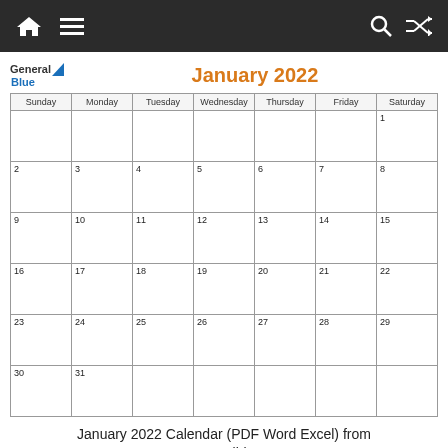Navigation bar with home, menu, search, and shuffle icons
[Figure (logo): General Blue logo with blue triangle]
January 2022
| Sunday | Monday | Tuesday | Wednesday | Thursday | Friday | Saturday |
| --- | --- | --- | --- | --- | --- | --- |
|  |  |  |  |  |  | 1 |
| 2 | 3 | 4 | 5 | 6 | 7 | 8 |
| 9 | 10 | 11 | 12 | 13 | 14 | 15 |
| 16 | 17 | 18 | 19 | 20 | 21 | 22 |
| 23 | 24 | 25 | 26 | 27 | 28 | 29 |
| 30 | 31 |  |  |  |  |  |
January 2022 Calendar (PDF Word Excel) from www.generalblue.com
Our calendars are available as calendar pdf and image format (gif). Here you can find calendars for the month of January 2022. This calendar is for the...